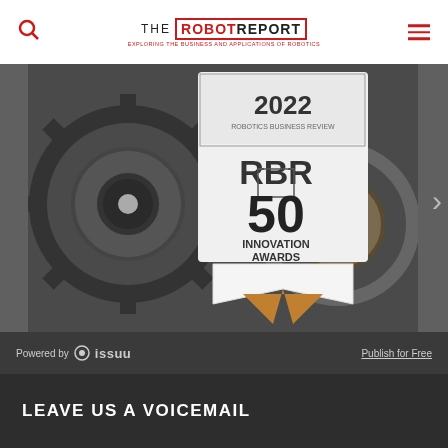THE ROBOT REPORT — EXPLORING THE BUSINESS AND APPLICATIONS OF ROBOTICS
[Figure (photo): 2022 Robotics Business Review RBR 50 Innovation Awards promotional image showing gears and award badge, embedded in a slideshow viewer with Issuu branding bar showing 'Powered by issuu' and 'Publish for Free']
LEAVE US A VOICEMAIL